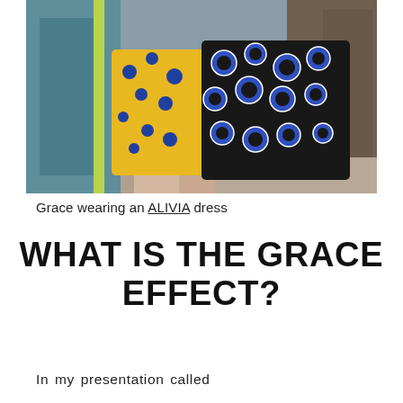[Figure (photo): A person wearing a patterned dress – black fabric with blue floral print on one side and yellow with blue flowers on the other side, standing near a teal painted wall/door in an outdoor setting.]
Grace wearing an ALIVIA dress
WHAT IS THE GRACE EFFECT?
In my presentation called